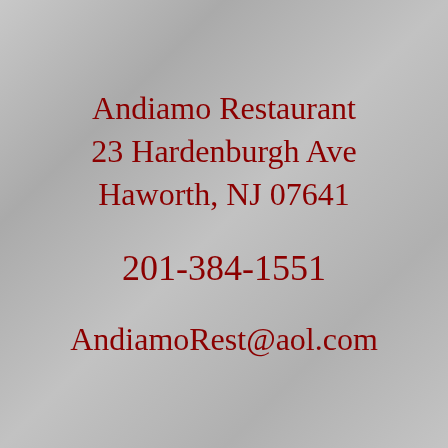Andiamo Restaurant
23 Hardenburgh Ave
Haworth, NJ 07641
201-384-1551
AndiamoRest@aol.com